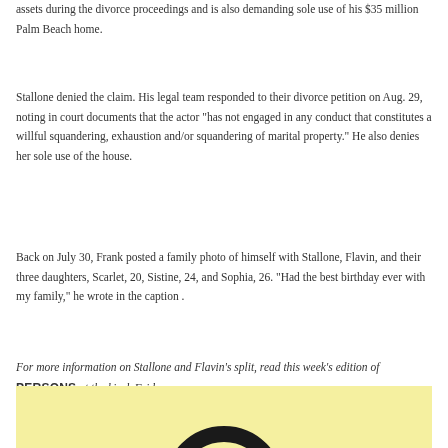assets during the divorce proceedings and is also demanding sole use of his $35 million Palm Beach home.
Stallone denied the claim. His legal team responded to their divorce petition on Aug. 29, noting in court documents that the actor "has not engaged in any conduct that constitutes a willful squandering, exhaustion and/or squandering of marital property." He also denies her sole use of the house.
Back on July 30, Frank posted a family photo of himself with Stallone, Flavin, and their three daughters, Scarlet, 20, Sistine, 24, and Sophia, 26. "Had the best birthday ever with my family," he wrote in the caption .
For more information on Stallone and Flavin's split, read this week's edition of PERSONS at the kiosk Friday.
[Figure (illustration): Bottom portion of page showing a yellow/cream background with a large black circle outline partially visible at the bottom center]